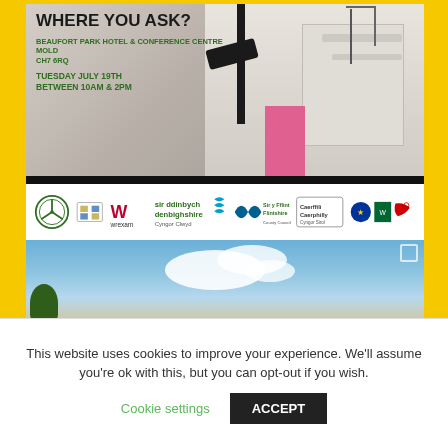[Figure (photo): Event flyer image showing street scene with building facade, lamp post, pink wall, and overlay text reading WHERE YOU ASK? Beaufort Park Hotel & Conference Centre, Mold, CH7 6RQ, Tuesday July 19th Between 10am & 2pm]
WHERE YOU ASK?
BEAUFORT PARK HOTEL & CONFERENCE CENTRE
MOLD
CH7 6RQ
TUESDAY JULY 19TH
BETWEEN 10AM & 2PM
[Figure (logo): Row of partner organisation logos including Denbighshire County Council, Flintshire County Council, Welsh Government, European Union and other partner logos]
[Figure (photo): Sky photograph showing blue sky with white clouds and tree in bottom left corner]
This website uses cookies to improve your experience. We'll assume you're ok with this, but you can opt-out if you wish.
Cookie settings
ACCEPT